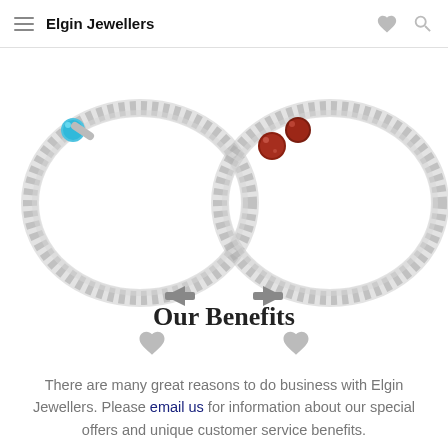Elgin Jewellers
[Figure (photo): Two silver bangle bracelets shown side by side. Left bracelet has a blue turquoise stone accent. Right bracelet has two dark red/brown sparkly ball accents. Navigation arrows visible below each bracelet.]
Our Benefits
There are many great reasons to do business with Elgin Jewellers. Please email us for information about our special offers and unique customer service benefits.